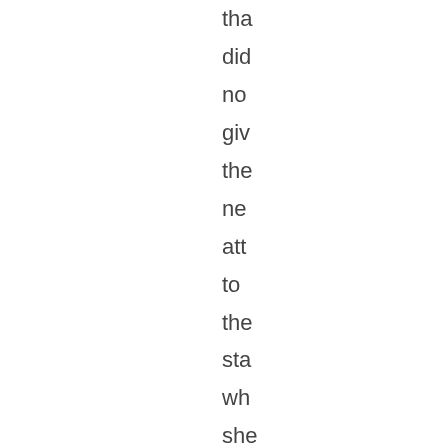tha did no giv the ne att to the sta wh she wa fall be (No the are